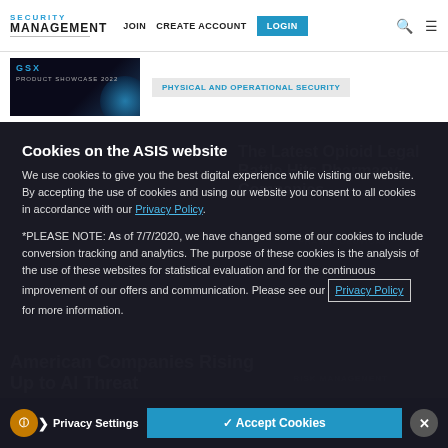SECURITY MANAGEMENT | JOIN | CREATE ACCOUNT | LOGIN
[Figure (screenshot): GSX product showcase thumbnail - dark background with blue orb]
PHYSICAL AND OPERATIONAL SECURITY
Cookies on the ASIS website
We use cookies to give you the best digital experience while visiting our website. By accepting the use of cookies and using our website you consent to all cookies in accordance with our Privacy Policy.
*PLEASE NOTE: As of 7/7/2020, we have changed some of our cookies to include conversion tracking and analytics. The purpose of these cookies is the analysis of the use of these websites for statistical evaluation and for the continuous improvement of our offers and communication. Please see our Privacy Policy for more information.
Privacy Settings
✓ Accept Cookies